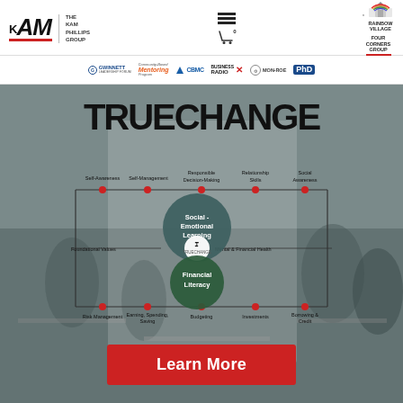[Figure (logo): KAM / The Kam Phillips Group logo with navigation icons and partner logos (Rainbow Village, Four Corners Group)]
[Figure (logo): Sponsor logos bar: Gwinnett Leadership Forum, Community-Based Mentoring Program, CBMC, Business Radio X, Monroe, PhD Foundation]
[Figure (infographic): TrueChange hero section showing classroom background, TRUECHANGE title, a diagram with Social-Emotional Learning and Financial Literacy circles connected by lines to concepts: Self-Awareness, Self-Management, Responsible Decision-Making, Relationship Skills, Social Awareness (top row) and Risk Management, Earning Spending Saving, Budgeting, Investments, Borrowing & Credit (bottom row). Center shows Foundational Values and Mental & Financial Health. A 'Learn More' red button is at the bottom.]